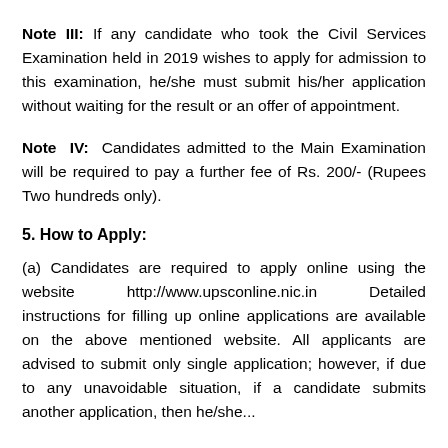Note III: If any candidate who took the Civil Services Examination held in 2019 wishes to apply for admission to this examination, he/she must submit his/her application without waiting for the results or an offer of appointment.
Note IV: Candidates admitted to the Main Examination will be required to pay a further fee of Rs. 200/- (Rupees Two hundreds only).
5. How to Apply:
(a) Candidates are required to apply online using website http://www.upsconline.nic.in Detailed instructions for filling up online applications are available on the above mentioned website. All applicants are advised to submit only single application; however, if due to any unavoidable situation, if a candidate submits another application then he/she...